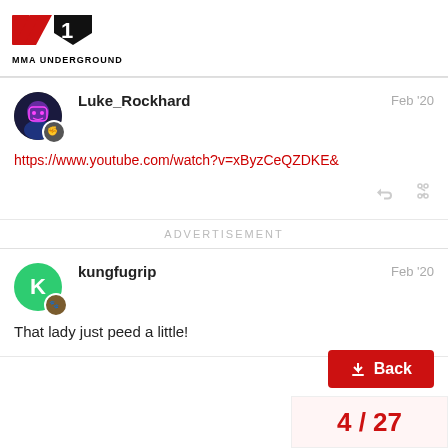MMA UNDERGROUND
Luke_Rockhard  Feb '20
https://www.youtube.com/watch?v=xByzCeQZDKE&
ADVERTISEMENT
kungfugrip  Feb '20
That lady just peed a little!
4 / 27